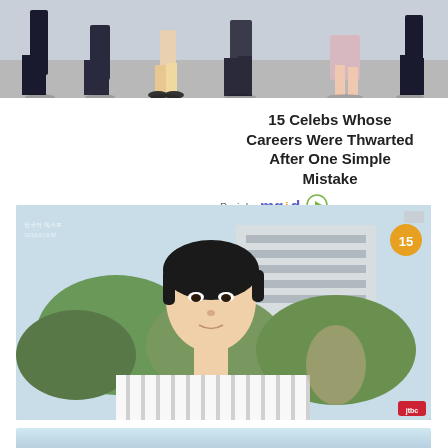[Figure (photo): Top portion of a street scene with people walking, cropped showing only lower bodies and legs]
15 Celebs Whose Careers Were Thwarted After One Simple Mistake
Brainberries · mgid
[Figure (photo): Korean drama still showing a young man with dark hair in a striped shirt standing outdoors with blurred green trees and buildings in background, number 15 badge in top right, jtbc logo bottom right]
[Figure (photo): Partially visible bottom image, appears to be another Korean drama still]